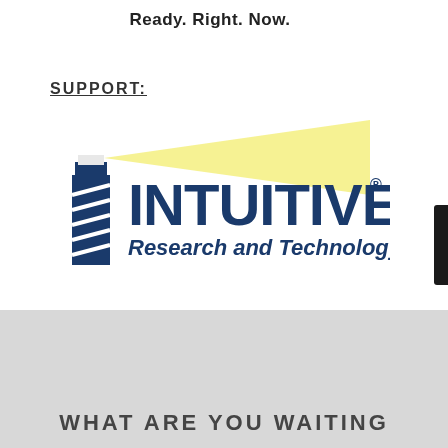Ready. Right. Now.
SUPPORT:
[Figure (logo): Intuitive Research and Technology logo — lighthouse graphic with yellow beam on left, bold dark navy text 'INTUITIVE®' and below 'Research and Technology']
WHAT ARE YOU WAITING